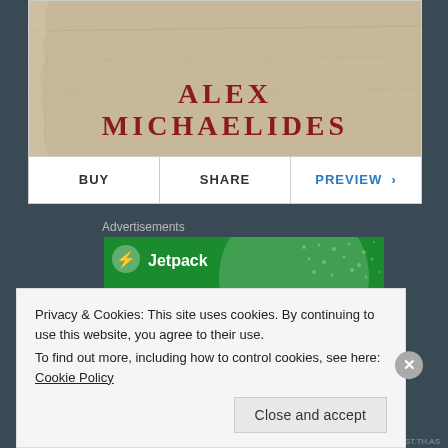[Figure (photo): Book cover showing author name ALEX MICHAELIDES in red serif text on a textured beige/cream background]
BUY | SHARE | PREVIEW >
Advertisements
[Figure (logo): Jetpack advertisement banner with green background, circular light graphic, Jetpack logo with lightning bolt icon, and text 'The best real-time']
Privacy & Cookies: This site uses cookies. By continuing to use this website, you agree to their use.
To find out more, including how to control cookies, see here: Cookie Policy
Close and accept